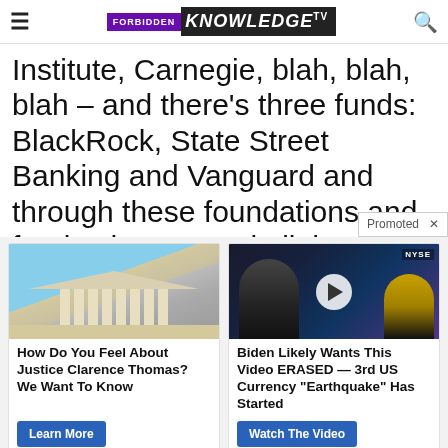FORBIDDEN KNOWLEDGE TV
Institute, Carnegie, blah, blah, blah – and there's three funds: BlackRock, State Street Banking and Vanguard and through these foundations and funds, they control all the
[Figure (screenshot): Promoted ad cards: two sponsored content boxes. Left: photo of US Supreme Court building with text 'How Do You Feel About Justice Clarence Thomas? We Want To Know' and a 'Learn More' button. Right: NYSE video thumbnail with play button and text 'Biden Likely Wants This Video ERASED — 3rd US Currency "Earthquake" Has Started' and a 'Watch The Video' button.]